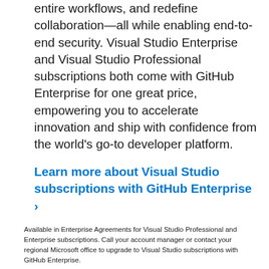entire workflows, and redefine collaboration—all while enabling end-to-end security. Visual Studio Enterprise and Visual Studio Professional subscriptions both come with GitHub Enterprise for one great price, empowering you to accelerate innovation and ship with confidence from the world's go-to developer platform.
Learn more about Visual Studio subscriptions with GitHub Enterprise ›
Available in Enterprise Agreements for Visual Studio Professional and Enterprise subscriptions. Call your account manager or contact your regional Microsoft office to upgrade to Visual Studio subscriptions with GitHub Enterprise.